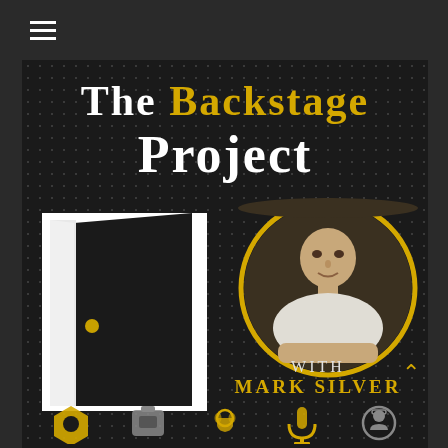[Figure (screenshot): Navigation header bar with hamburger menu icon on dark background]
[Figure (logo): The Backstage Project podcast logo with dark dotted background, showing title text 'The Backstage Project', an open door illustration on left, a circular portrait photo of Mark Silver on right, and the text 'With Mark Silver' below the portrait. Bottom shows partial view of category icons in gold and grey.]